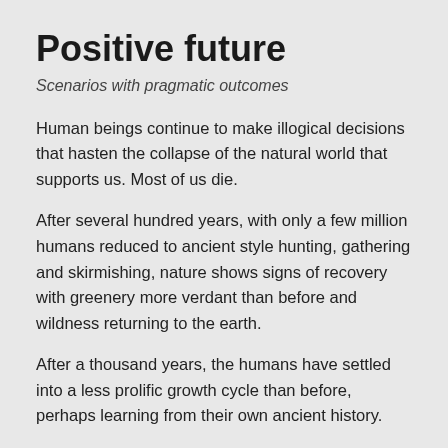Positive future
Scenarios with pragmatic outcomes
Human beings continue to make illogical decisions that hasten the collapse of the natural world that supports us. Most of us die.
After several hundred years, with only a few million humans reduced to ancient style hunting, gathering and skirmishing, nature shows signs of recovery with greenery more verdant than before and wildness returning to the earth.
After a thousand years, the humans have settled into a less prolific growth cycle than before, perhaps learning from their own ancient history.